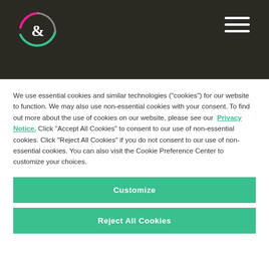[Figure (logo): Circular logo with ampersand symbol, pink and teal arc outline on dark background]
We use essential cookies and similar technologies (“cookies”) for our website to function. We may also use non-essential cookies with your consent. To find out more about the use of cookies on our website, please see our Privacy Notice. Click “Accept All Cookies” to consent to our use of non-essential cookies. Click “Reject All Cookies” if you do not consent to our use of non-essential cookies. You can also visit the Cookie Preference Center to customize your choices.
Customize
Reject All Cookies